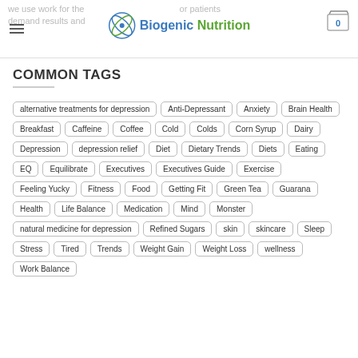Biogenic Nutrition
COMMON TAGS
alternative treatments for depression
Anti-Depressant
Anxiety
Brain Health
Breakfast
Caffeine
Coffee
Cold
Colds
Corn Syrup
Dairy
Depression
depression relief
Diet
Dietary Trends
Diets
Eating
EQ
Equilibrate
Executives
Executives Guide
Exercise
Feeling Yucky
Fitness
Food
Getting Fit
Green Tea
Guarana
Health
Life Balance
Medication
Mind
Monster
natural medicine for depression
Refined Sugars
skin
skincare
Sleep
Stress
Tired
Trends
Weight Gain
Weight Loss
wellness
Work Balance